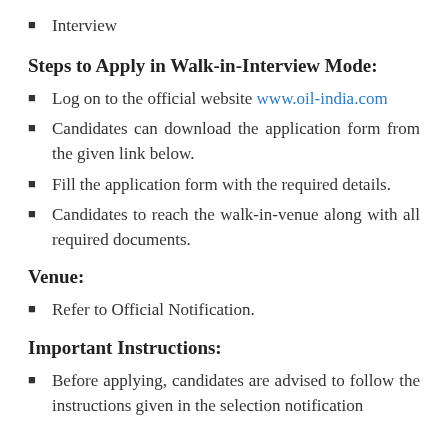Interview
Steps to Apply in Walk-in-Interview Mode:
Log on to the official website www.oil-india.com
Candidates can download the application form from the given link below.
Fill the application form with the required details.
Candidates to reach the walk-in-venue along with all required documents.
Venue:
Refer to Official Notification.
Important Instructions:
Before applying, candidates are advised to follow the instructions given in the selection notification